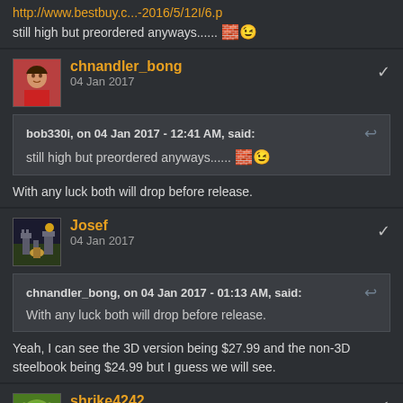http://www.bestbuy.c...-2016/5/12I/6.p
still high but preordered anyways...... 🤑
chnandler_bong
04 Jan 2017
bob330i, on 04 Jan 2017 - 12:41 AM, said:
still high but preordered anyways...... 🤑
With any luck both will drop before release.
Josef
04 Jan 2017
chnandler_bong, on 04 Jan 2017 - 01:13 AM, said:
With any luck both will drop before release.
Yeah, I can see the 3D version being $27.99 and the non-3D steelbook being $24.99 but I guess we will see.
shrike4242
04 Jan 2017